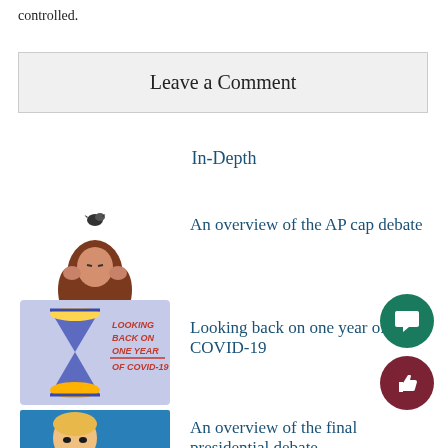controlled.
Leave a Comment
In-Depth
[Figure (illustration): Stressed girl with hands on head and a small bird above, illustration]
An overview of the AP cap debate
[Figure (illustration): Hourglass illustration with text: Looking back on one year of COVID-19, blue/purple color scheme]
Looking back on one year of COVID-19
[Figure (photo): Photo of Donald Trump at a podium with blue background and ON sign visible]
An overview of the final presidential debate